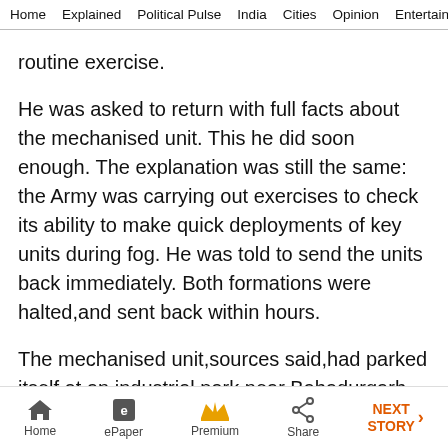Home  Explained  Political Pulse  India  Cities  Opinion  Entertainment
routine exercise.
He was asked to return with full facts about the mechanised unit. This he did soon enough. The explanation was still the same: the Army was carrying out exercises to check its ability to make quick deployments of key units during fog. He was told to send the units back immediately. Both formations were halted,and sent back within hours.
The mechanised unit,sources said,had parked itself at an industrial park near Bahadurgarh abutting West Delhi’s Najafgarh. The Paras were
Home  ePaper  Premium  Share  NEXT STORY